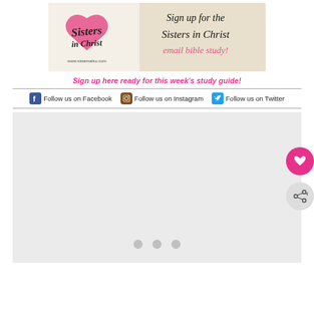[Figure (illustration): Sisters in Christ banner ad showing a pink heart logo with cursive text reading 'Sisters in Christ' and 'Sign up for the Sisters in Christ email bible study!' on a beige fabric background with www.sistersalso.com]
Sign up here ready for this week's study guide!
[Figure (screenshot): Social media follow bar with Facebook, Instagram, and Twitter icons and text: 'Follow us on Facebook', 'Follow us on Instagram', 'Follow us on Twitter']
[Figure (screenshot): Gray content area with three gray dots at the bottom (carousel indicator), and two floating action buttons on the right: a pink heart button and a gray share button]